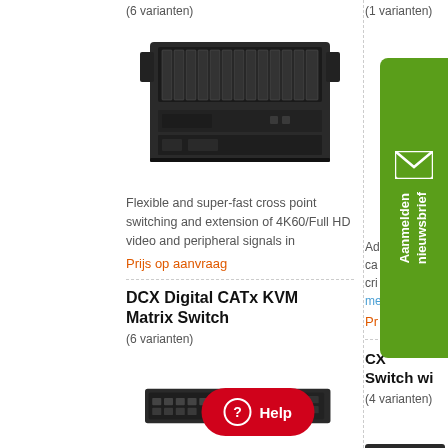(6 varianten)
(1 varianten)
[Figure (photo): Large rack-mounted KVM matrix switch unit, black, with multiple card slots visible]
Flexible and super-fast cross point switching and extension of 4K60/Full HD video and peripheral signals in
Prijs op aanvraag
Prijs op aanvraag (right column, partial)
DCX Digital CATx KVM Matrix Switch
(6 varianten)
CX... Switch wi... (right column, partial)
(4 varianten)
[Figure (photo): 1U rack-mount KVM switch, black, with multiple ports on front panel]
[Figure (photo): Right column partial image of a rack-mount KVM switch]
Digital high performance KVM Matrix Switching w... convenient CATx-connections
[Figure (infographic): Green newsletter signup sidebar with envelope icon and text Aanmelden nieuwsbrief]
[Figure (other): Red Help button with question mark icon]